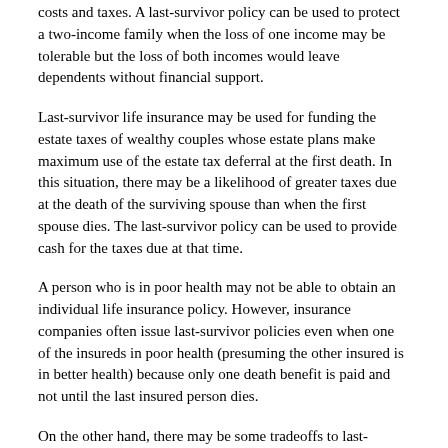costs and taxes. A last-survivor policy can be used to protect a two-income family when the loss of one income may be tolerable but the loss of both incomes would leave dependents without financial support.
Last-survivor life insurance may be used for funding the estate taxes of wealthy couples whose estate plans make maximum use of the estate tax deferral at the first death. In this situation, there may be a likelihood of greater taxes due at the death of the surviving spouse than when the first spouse dies. The last-survivor policy can be used to provide cash for the taxes due at that time.
A person who is in poor health may not be able to obtain an individual life insurance policy. However, insurance companies often issue last-survivor policies even when one of the insureds in poor health (presuming the other insured is in better health) because only one death benefit is paid and not until the last insured person dies.
On the other hand, there may be some tradeoffs to last-survivor life insurance. Since the death benefit doesn't pay until the death of the second insured, it is possible that the surviving insured could be left without sufficient financial resources. And since premium payments must continue to be made, the surviving insured may not have the money available to pay the ongoing premiums. Some policies consider the insurance paid up at the first death so no additional premium payments are needed following the death of the first